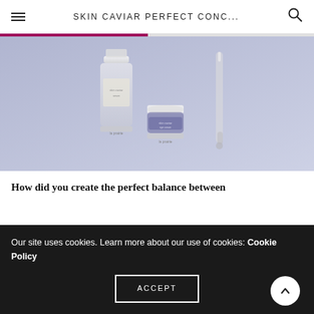SKIN CAVIAR PERFECT CONC...
[Figure (photo): La Prairie skincare products including serums and eye cream in blue/silver packaging on a grey-blue background]
How did you create the perfect balance between
Our site uses cookies. Learn more about our use of cookies: Cookie Policy
ACCEPT